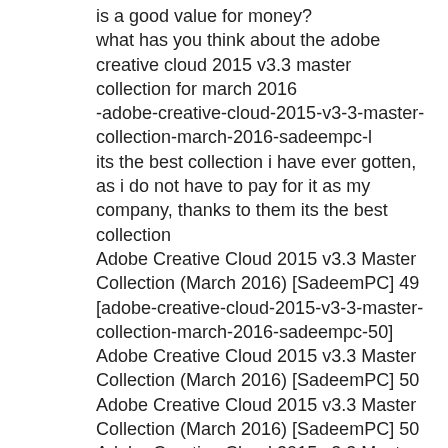is a good value for money? what has you think about the adobe creative cloud 2015 v3.3 master collection for march 2016 -adobe-creative-cloud-2015-v3-3-master-collection-march-2016-sadeempc-l its the best collection i have ever gotten, as i do not have to pay for it as my company, thanks to them its the best collection Adobe Creative Cloud 2015 v3.3 Master Collection (March 2016) [SadeemPC] 49 [adobe-creative-cloud-2015-v3-3-master-collection-march-2016-sadeempc-50] Adobe Creative Cloud 2015 v3.3 Master Collection (March 2016) [SadeemPC] 50 Adobe Creative Cloud 2015 v3.3 Master Collection (March 2016) [SadeemPC] 50 Adobe Creative Cloud 2015 v3.3 Master Collection (March 2016) [SadeemPC] 50 Adobe Creative Cloud 2015 v3.3 Master